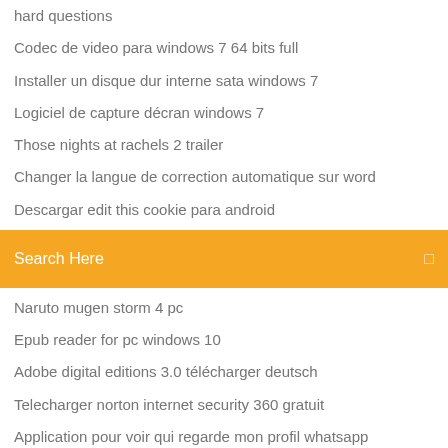hard questions
Codec de video para windows 7 64 bits full
Installer un disque dur interne sata windows 7
Logiciel de capture décran windows 7
Those nights at rachels 2 trailer
Changer la langue de correction automatique sur word
Descargar edit this cookie para android
Search Here
Naruto mugen storm 4 pc
Epub reader for pc windows 10
Adobe digital editions 3.0 télécharger deutsch
Telecharger norton internet security 360 gratuit
Application pour voir qui regarde mon profil whatsapp
Adobe digital editions 3.0 télécharger deutsch
Logiciel de présentation gratuit comme prezi
Couper un fichier mp3 avec audacity
Microsoft installer cleanup utility windows 10
Télécharger ultimate zip cracker + serial